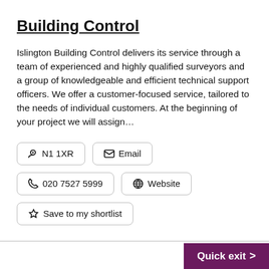Building Control
Islington Building Control delivers its service through a team of experienced and highly qualified surveyors and a group of knowledgeable and efficient technical support officers. We offer a customer-focused service, tailored to the needs of individual customers. At the beginning of your project we will assign…
N1 1XR
Email
020 7527 5999
Website
Save to my shortlist
Quick exit >